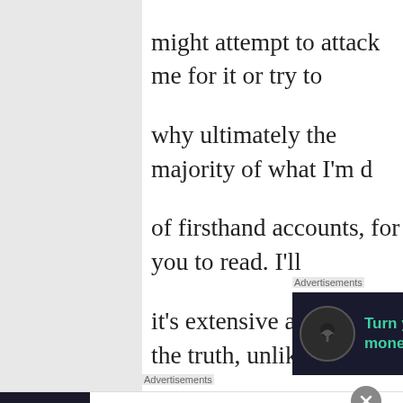might attempt to attack me for it or try to why ultimately the majority of what I'm of firsthand accounts, for you to read. I'll it's extensive and it tells the truth, unlike because the friendship Clare has with Ho why I don't read Black's books. I wonder Clare's behavior.
[Figure (other): Advertisement banner with dark background showing a tree icon and text 'Turn your blog into a money-making online' in teal color]
Moving on to City of Bones, the fact of th
[Figure (other): Advertisement banner for Pocket Casts: 'The go-to app for podcast lovers.' with colorful tile logo and Pocket Casts branding]